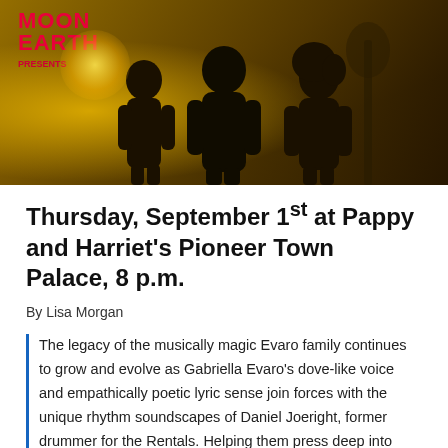[Figure (photo): Band photo with golden-yellow toned outdoor image showing three silhouetted figures in a desert/brush landscape. Top left corner shows logo text 'MOON EARTH' in red.]
Thursday, September 1st at Pappy and Harriet's Pioneer Town Palace, 8 p.m.
By Lisa Morgan
The legacy of the musically magic Evaro family continues to grow and evolve as Gabriella Evaro's dove-like voice and empathically poetic lyric sense join forces with the unique rhythm soundscapes of Daniel Joeright, former drummer for the Rentals. Helping them press deep into some uncharted pop-esque celestial folk rock are Be Hussey (bass), Esteban Chavez (synthesizers), Scott Shaffer (Theremin, keyboards,